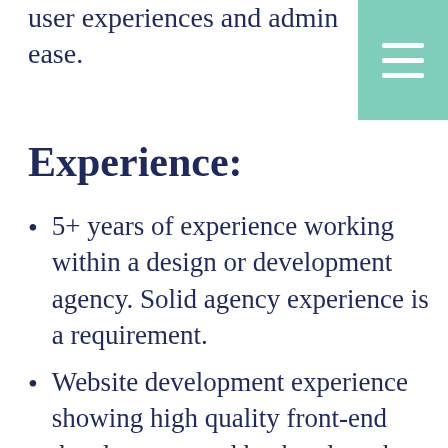user experiences and admin ease.
[Figure (other): Hamburger menu button (teal/mint green square with three white horizontal lines)]
Experience:
5+ years of experience working within a design or development agency. Solid agency experience is a requirement.
Website development experience showing high quality front-end development and backend work product in WordPress and other CMS platforms.
Multidisciplinary production